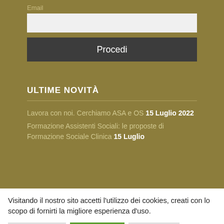Email
[Figure (screenshot): Input text field (empty, light gray background)]
Procedi
ULTIME NOVITÀ
Lavora con noi. Cerchiamo ASA e OS 15 Luglio 2022
Formazione Assistenti Sociali: le proposte di Formazione Sociale Clinica 15 Luglio
Visitando il nostro sito accetti l'utilizzo dei cookies, creati con lo scopo di fornirti la migliore esperienza d'uso.
Personalizza
Accetta tutti
Rifiuta tutti
Maggiori informazioni